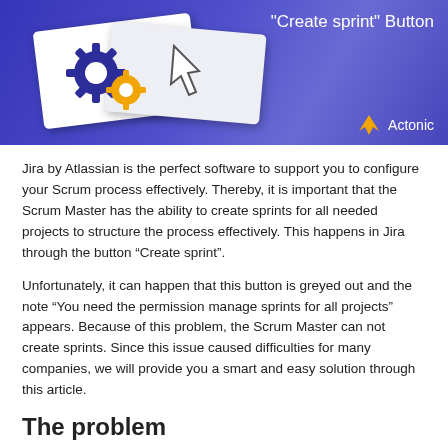[Figure (illustration): Banner image with purple/blue gradient background showing two white cards with gear icons and a cursor arrow icon, text 'Create sprint' Button in white, and Actonic logo with orange bird icon in bottom right.]
Jira by Atlassian is the perfect software to support you to configure your Scrum process effectively. Thereby, it is important that the Scrum Master has the ability to create sprints for all needed projects to structure the process effectively. This happens in Jira through the button “Create sprint”.
Unfortunately, it can happen that this button is greyed out and the note “You need the permission manage sprints for all projects” appears. Because of this problem, the Scrum Master can not create sprints. Since this issue caused difficulties for many companies, we will provide you a smart and easy solution through this article.
The problem
The Scrum Master wants to create a sprint. Though, the button for the sprint creation is greyed out and the note “You need the